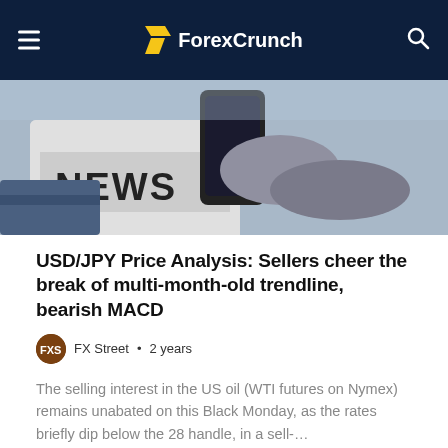ForexCrunch
[Figure (photo): Person holding a smartphone over a newspaper with the word NEWS printed on it]
USD/JPY Price Analysis: Sellers cheer the break of multi-month-old trendline, bearish MACD
FX Street • 2 years
The selling interest in the US oil (WTI futures on Nymex) remains unabated on this Black Monday, as the rates briefly dip below the 28 handle, in a sell-…